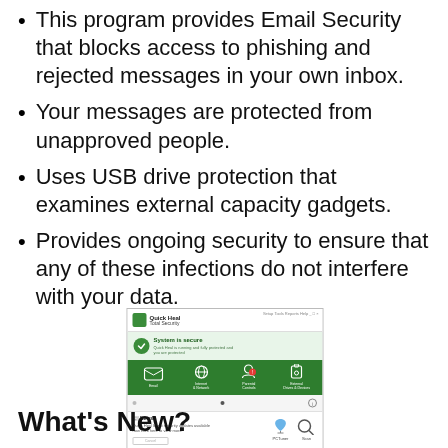This program provides Email Security that blocks access to phishing and rejected messages in your own inbox.
Your messages are protected from unapproved people.
Uses USB drive protection that examines external capacity gadgets.
Provides ongoing security to ensure that any of these infections do not interfere with your data.
[Figure (screenshot): Quick Heal Total Security software interface screenshot showing 'System is secure' status with green checkmark, icons for Email, Internet & Network, Parental Controls, External Drives & Devices, and news section with PCTuner and Scan buttons.]
What's New?